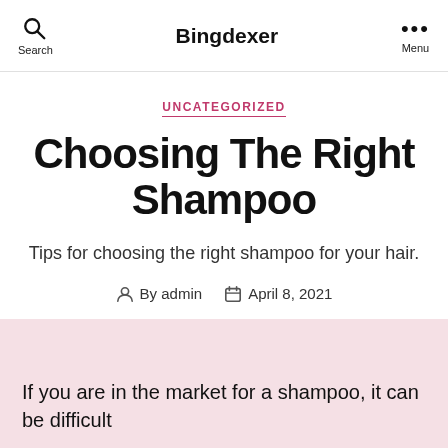Search | Bingdexer | Menu
UNCATEGORIZED
Choosing The Right Shampoo
Tips for choosing the right shampoo for your hair.
By admin  April 8, 2021
If you are in the market for a shampoo, it can be difficult